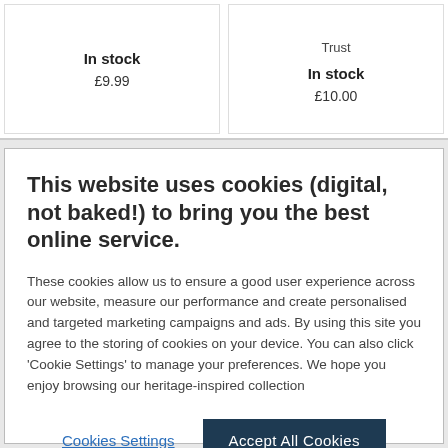Trust
In stock
£9.99
In stock
£10.00
This website uses cookies (digital, not baked!) to bring you the best online service.
These cookies allow us to ensure a good user experience across our website, measure our performance and create personalised and targeted marketing campaigns and ads. By using this site you agree to the storing of cookies on your device. You can also click 'Cookie Settings' to manage your preferences. We hope you enjoy browsing our heritage-inspired collection
Cookies Settings
Accept All Cookies